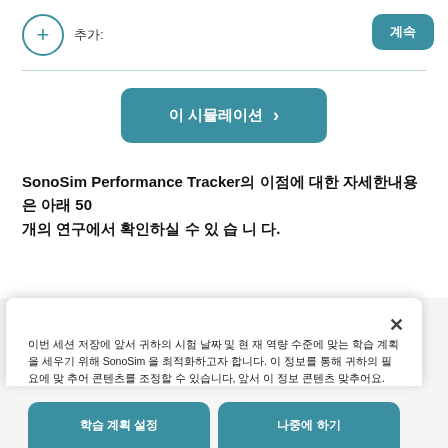추가:
계속
이 시뮬레이션
SonoSim Performance Tracker의 이점에 대한 자세한내용은 아래 50 개의 연구에서 확인하실 수 있 습 니다.
이번 세션 저장에 앞서 귀하의 시험 날짜 및 현 재 역량 수준에 맞는 학습 계획을 세우기 위해 SonoSim 을 최적화하고자 합니다. 이 정보를 통해 귀하의 필요에 맞 추어 콘텐츠를 조정할 수 있습니다, 앞서 이 정보 콘텐츠 맞추어요.
학습 계획 설정
나중에 하기